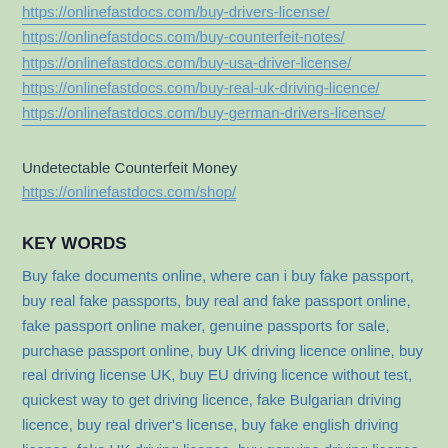https://onlinefastdocs.com/buy-drivers-license/
https://onlinefastdocs.com/buy-counterfeit-notes/
https://onlinefastdocs.com/buy-usa-driver-license/
https://onlinefastdocs.com/buy-real-uk-driving-licence/
https://onlinefastdocs.com/buy-german-drivers-license/
Undetectable Counterfeit Money https://onlinefastdocs.com/shop/
KEY WORDS
Buy fake documents online, where can i buy fake passport, buy real fake passports, buy real and fake passport online, fake passport online maker, genuine passports for sale, purchase passport online, buy UK driving licence online, buy real driving license UK, buy EU driving licence without test, quickest way to get driving licence, fake Bulgarian driving licence, buy real driver’s license, buy fake english driving licence, fake UK driving licence, buy genuine driving licence, buy driving licence DVLA, fake drivers license online, fake driving licence, fake driver’s license, quickest and easiest way to get bike licence, fastest way to get a full UK driving